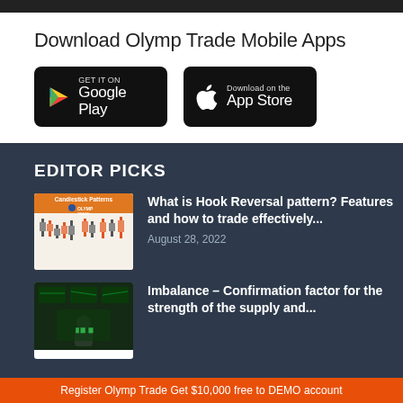Download Olymp Trade Mobile Apps
[Figure (logo): Google Play store download button — black rounded rectangle with Google Play triangle logo and text 'GET IT ON Google Play']
[Figure (logo): Apple App Store download button — black rounded rectangle with Apple logo and text 'Download on the App Store']
EDITOR PICKS
[Figure (illustration): Thumbnail image for article about Hook Reversal pattern — orange background with candlestick pattern illustrations and Olymp Trade logo with text 'Candlestick Patterns']
What is Hook Reversal pattern? Features and how to trade effectively...
August 28, 2022
[Figure (photo): Thumbnail image for article about Imbalance — dark photo of a person at trading screens]
Imbalance – Confirmation factor for the strength of the supply and...
Register Olymp Trade Get $10,000 free to DEMO account